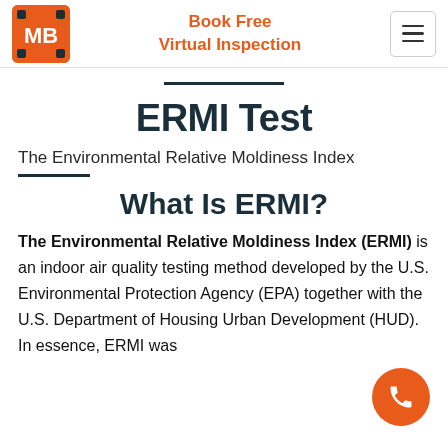MB logo | Book Free Virtual Inspection | hamburger menu
ERMI Test
The Environmental Relative Moldiness Index
What Is ERMI?
The Environmental Relative Moldiness Index (ERMI) is an indoor air quality testing method developed by the U.S. Environmental Protection Agency (EPA) together with the U.S. Department of Housing Urban Development (HUD). In essence, ERMI was